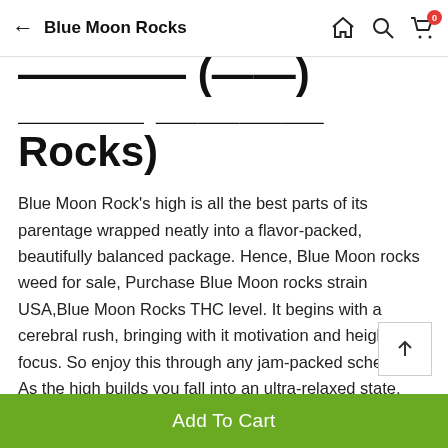Blue Moon Rocks
Effects (Dry) Blue Moon Rocks)
Blue Moon Rock’s high is all the best parts of its parentage wrapped neatly into a flavor-packed, beautifully balanced package. Hence, Blue Moon rocks weed for sale, Purchase Blue Moon rocks strain USA,Blue Moon Rocks THC level. It begins with a cerebral rush, bringing with it motivation and heightened focus. So enjoy this through any jam-packed schedule. As the high builds you fall into an ultra-relaxed state, leaving you feeling hazy and totally calm.
Medical Benefits